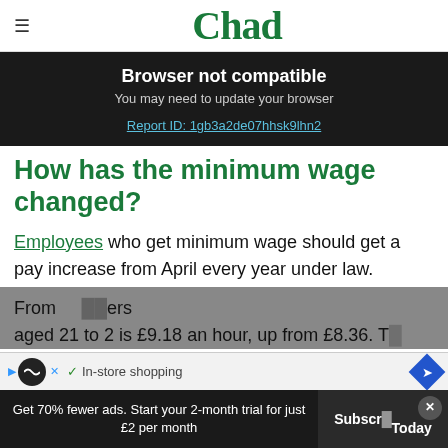Chad
Browser not compatible
You may need to update your browser
Report ID: 1gb3a2de07hhsk9lhn2
How has the minimum wage changed?
Employees who get minimum wage should get a pay increase from April every year under law.
From ... aged 21 to 2 is £9.18 an hour, up from £8.36. T...
Get 70% fewer ads. Start your 2-month trial for just £2 per month
Subscr... Today